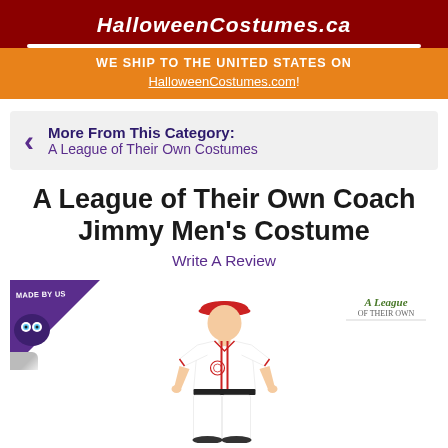HalloweenCostumes.ca
WE SHIP TO THE UNITED STATES ON HalloweenCostumes.com!
More From This Category: A League of Their Own Costumes
A League of Their Own Coach Jimmy Men's Costume
Write A Review
[Figure (photo): Man wearing a white baseball uniform with red trim and a red cap, representing Coach Jimmy costume from A League of Their Own. Made By Us badge in upper left corner. A League of Their Own logo in upper right.]